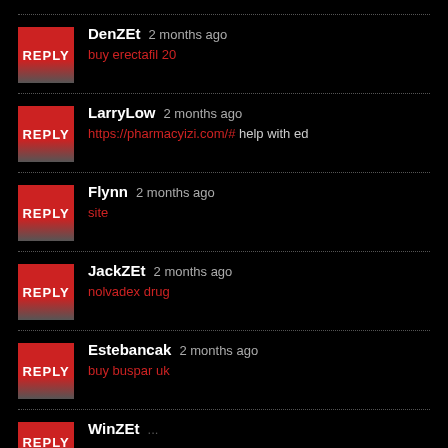DenZEt 2 months ago
buy erectafil 20
LarryLow 2 months ago
https://pharmacyizi.com/# help with ed
Flynn 2 months ago
site
JackZEt 2 months ago
nolvadex drug
Estebancak 2 months ago
buy buspar uk
WinZEt ...